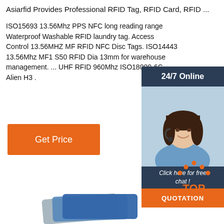Asiarfid Provides Professional RFID Tag, RFID Card, RFID ...
ISO15693 13.56Mhz PPS NFC long reading range Waterproof Washable RFID laundry tag. Access Control 13.56MHZ MF RFID NFC Disc Tags. ISO14443 13.56Mhz MF1 S50 RFID Dia 13mm for warehouse management. ... UHF RFID 960Mhz ISO18000-6C Alien H3 .
[Figure (other): Orange 'Get Price' button]
[Figure (other): 24/7 Online chat widget with agent photo, 'Click here for free chat!' text, and orange QUOTATION button]
[Figure (other): Orange and dark 'TOP' button with dot decoration, scroll-to-top widget]
[Figure (other): Partial image of RFID cards at bottom of page]